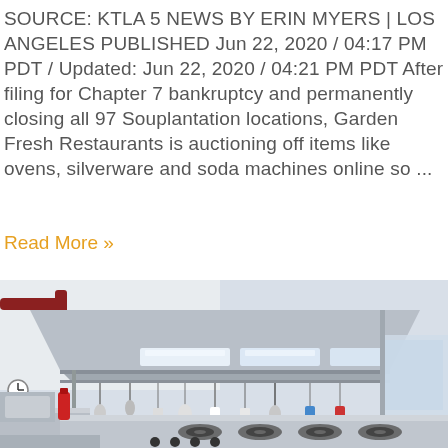SOURCE: KTLA 5 NEWS BY ERIN MYERS | LOS ANGELES PUBLISHED Jun 22, 2020 / 04:17 PM PDT / Updated: Jun 22, 2020 / 04:21 PM PDT After filing for Chapter 7 bankruptcy and permanently closing all 97 Souplantation locations, Garden Fresh Restaurants is auctioning off items like ovens, silverware and soda machines online so ...
Read More »
[Figure (photo): Interior of a large commercial stainless steel kitchen with ventilation hood, hanging utensils, burners, and countertops]